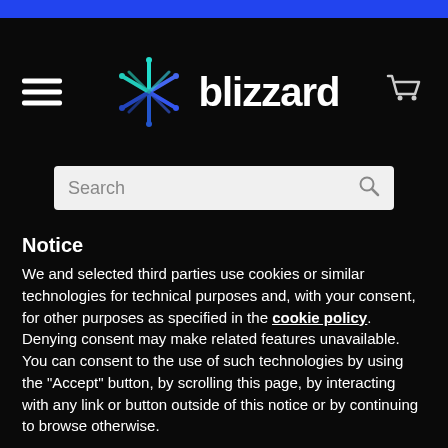[Figure (logo): Blizzard logo with snowflake icon and text 'blizzard']
Notice
We and selected third parties use cookies or similar technologies for technical purposes and, with your consent, for other purposes as specified in the cookie policy. Denying consent may make related features unavailable.
You can consent to the use of such technologies by using the "Accept" button, by scrolling this page, by interacting with any link or button outside of this notice or by continuing to browse otherwise.